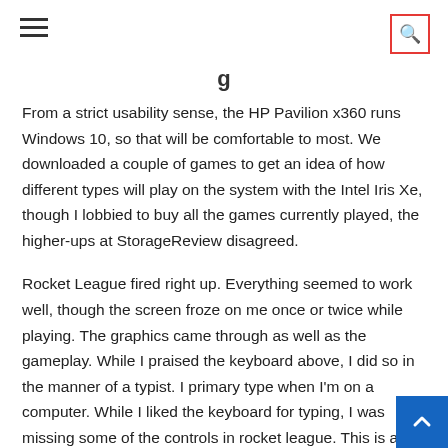☰ [search icon]
g
From a strict usability sense, the HP Pavilion x360 runs Windows 10, so that will be comfortable to most. We downloaded a couple of games to get an idea of how different types will play on the system with the Intel Iris Xe, though I lobbied to buy all the games currently played, the higher-ups at StorageReview disagreed.
Rocket League fired right up. Everything seemed to work well, though the screen froze on me once or twice while playing. The graphics came through as well as the gameplay. While I praised the keyboard above, I did so in the manner of a typist. I primary type when I'm on a computer. While I liked the keyboard for typing, I was missing some of the controls in rocket league. This is a combination of not being as familiar with the game and the keyboard being flat to the notebook.